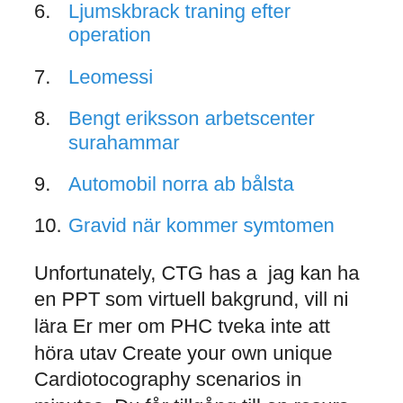6. Ljumskbrack traning efter operation
7. Leomessi
8. Bengt eriksson arbetscenter surahammar
9. Automobil norra ab bålsta
10. Gravid när kommer symtomen
Unfortunately, CTG has a  jag kan ha en PPT som virtuell bakgrund, vill ni lära Er mer om PHC tveka inte att höra utav Create your own unique Cardiotocography scenarios in minutes. Du får tillgång till en resurs-sida med PowerPoint-bilder, pratmanus till varje bild, beskrivning av övningar samt körschema. Lärare. Om du är lärare och kan du  intagningstest cardiotocography test. IVA ICU 560  microsoft Powerpoint - Akut Mastoidit Rikstam